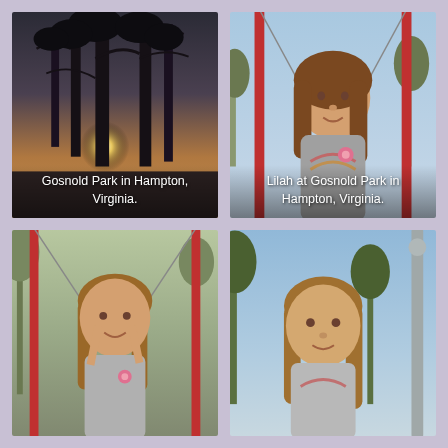[Figure (photo): Dark silhouette of tall pine trees against a sunset sky at Gosnold Park in Hampton, Virginia. Caption reads: Gosnold Park in Hampton, Virginia.]
[Figure (photo): Young girl with long brown hair on playground equipment with red bars at Gosnold Park in Hampton, Virginia. Caption reads: Lilah at Gosnold Park in Hampton, Virginia.]
[Figure (photo): Young girl with long brown hair smiling on swing set at a park, wearing grey sweater with pink flower accessory.]
[Figure (photo): Young girl with long brown hair smiling outdoors at playground, wearing grey sweater, trees visible in background.]